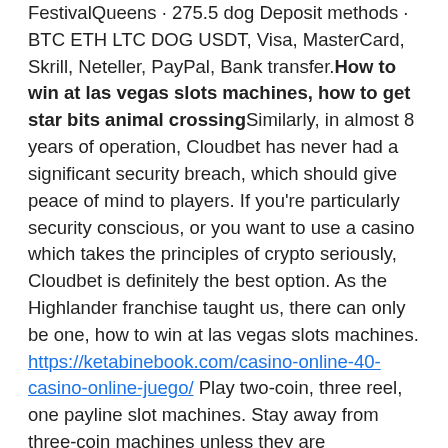FestivalQueens · 275.5 dog Deposit methods · BTC ETH LTC DOG USDT, Visa, MasterCard, Skrill, Neteller, PayPal, Bank transfer.How to win at las vegas slots machines, how to get star bits animal crossingSimilarly, in almost 8 years of operation, Cloudbet has never had a significant security breach, which should give peace of mind to players. If you're particularly security conscious, or you want to use a casino which takes the principles of crypto seriously, Cloudbet is definitely the best option. As the Highlander franchise taught us, there can only be one, how to win at las vegas slots machines. https://ketabinebook.com/casino-online-40-casino-online-juego/ Play two-coin, three reel, one payline slot machines. Stay away from three-coin machines unless they are progressive. Slot games are a dime a dozen in the casino universe, so you won't be. Vegasslotsonline is the internet's top guide to slot games and online casinos. Play thousands of free slots or check out our reviews of the best casinos online. Have to worry about someone hogging a particular machine, acting obnoxious (drunk) or blowing smoke in your face. Can i win real money playing